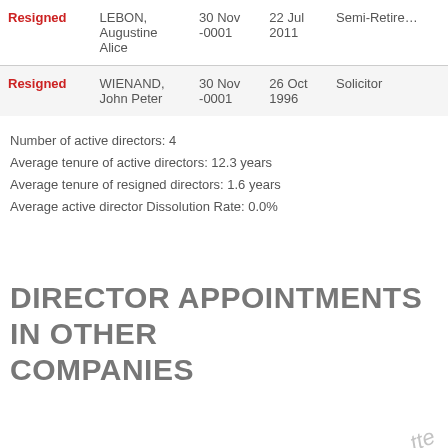| Status | Name | Born | Appointed | Occupation |
| --- | --- | --- | --- | --- |
| Resigned | LEBON, Augustine Alice | 30 Nov -0001 | 22 Jul 2011 | Semi-Retired |
| Resigned | WIENAND, John Peter | 30 Nov -0001 | 26 Oct 1996 | Solicitor |
Number of active directors: 4
Average tenure of active directors: 12.3 years
Average tenure of resigned directors: 1.6 years
Average active director Dissolution Rate: 0.0%
DIRECTOR APPOINTMENTS IN OTHER COMPANIES